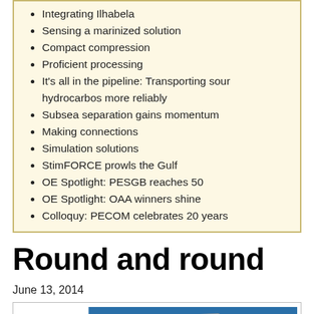Integrating Ilhabela
Sensing a marinized solution
Compact compression
Proficient processing
It's all in the pipeline: Transporting sour hydrocarbos more reliably
Subsea separation gains momentum
Making connections
Simulation solutions
StimFORCE prowls the Gulf
OE Spotlight: PESGB reaches 50
OE Spotlight: OAA winners shine
Colloquy: PECOM celebrates 20 years
Round and round
June 13, 2014
[Figure (photo): Offshore oil platform or vessel photographed from above on blue ocean water, showing crane or derrick structure and platform equipment.]